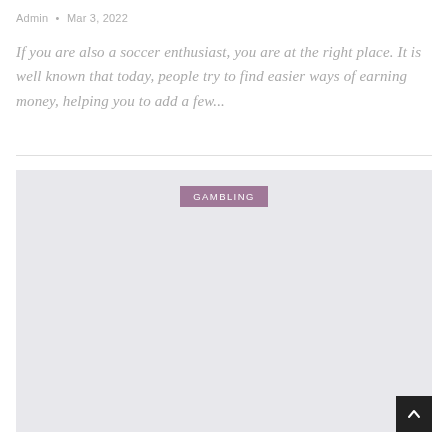Admin • Mar 3, 2022
If you are also a soccer enthusiast, you are at the right place. It is well known that today, people try to find easier ways of earning money, helping you to add a few...
[Figure (other): Large light grey placeholder image block with a 'GAMBLING' category tag centered near the top, and a dark scroll-to-top button in the bottom right corner.]